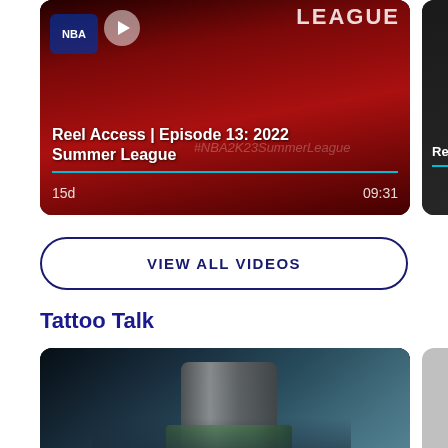[Figure (screenshot): Video thumbnail for 'Reel Access | Episode 13: 2022 Summer League' with NBA logo background, play button, video age 15d and duration 09:31]
[Figure (screenshot): Partial video thumbnail for 'Recap | 2...' with play button and teal progress bar]
VIEW ALL VIDEOS
Tattoo Talk
[Figure (screenshot): Tattoo close-up video thumbnail showing tattooing needle/instrument]
[Figure (screenshot): Partial second Tattoo Talk video thumbnail, light gray]